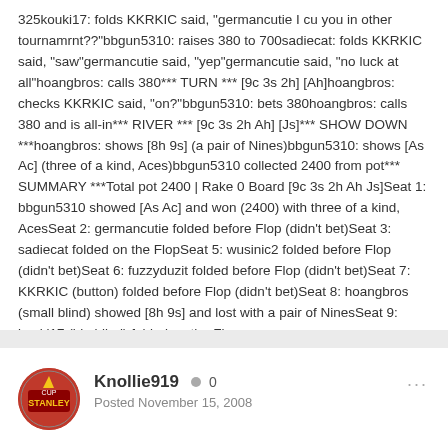325kouki17: folds KKRKIC said, "germancutie I cu you in other tournamrnt??"bbgun5310: raises 380 to 700sadiecat: folds KKRKIC said, "saw"germancutie said, "yep"germancutie said, "no luck at all"hoangbros: calls 380*** TURN *** [9c 3s 2h] [Ah]hoangbros: checks KKRKIC said, "on?"bbgun5310: bets 380hoangbros: calls 380 and is all-in*** RIVER *** [9c 3s 2h Ah] [Js]*** SHOW DOWN ***hoangbros: shows [8h 9s] (a pair of Nines)bbgun5310: shows [As Ac] (three of a kind, Aces)bbgun5310 collected 2400 from pot*** SUMMARY ***Total pot 2400 | Rake 0 Board [9c 3s 2h Ah Js]Seat 1: bbgun5310 showed [As Ac] and won (2400) with three of a kind, AcesSeat 2: germancutie folded before Flop (didn't bet)Seat 3: sadiecat folded on the FlopSeat 5: wusinic2 folded before Flop (didn't bet)Seat 6: fuzzyduzit folded before Flop (didn't bet)Seat 7: KKRKIC (button) folded before Flop (didn't bet)Seat 8: hoangbros (small blind) showed [8h 9s] and lost with a pair of NinesSeat 9: kouki17 (big blind) folded on the Flop
Knollie919  0
Posted November 15, 2008